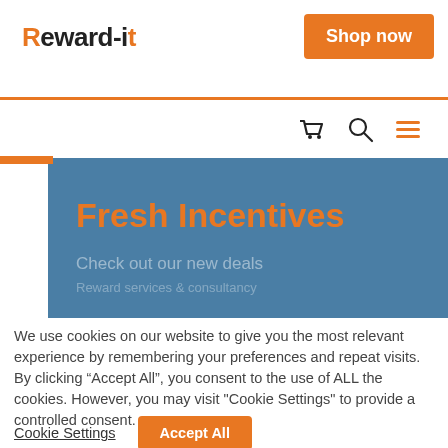Reward-iT
Shop now
[Figure (screenshot): Navigation icons: shopping cart, search magnifier, hamburger menu in orange]
Fresh Incentives
Check out our new deals
Reward services & consultancy
We use cookies on our website to give you the most relevant experience by remembering your preferences and repeat visits. By clicking “Accept All”, you consent to the use of ALL the cookies. However, you may visit "Cookie Settings" to provide a controlled consent.
Cookie Settings
Accept All